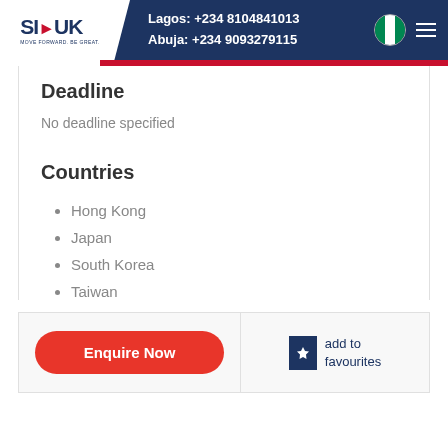Lagos: +234 8104841013  Abuja: +234 9093279115
Deadline
No deadline specified
Countries
Hong Kong
Japan
South Korea
Taiwan
Enquire Now
add to favourites